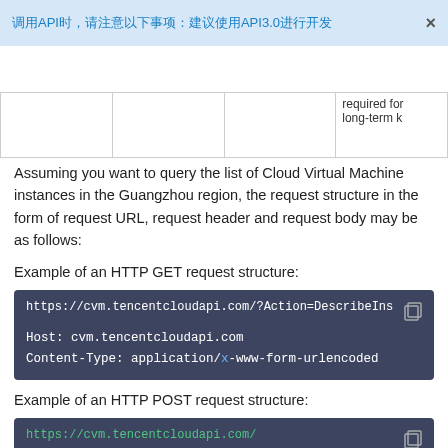调用API时，请注意以下事项：建议使用API3.0进行开发
|  |  |  | required for
long-term k |
Assuming you want to query the list of Cloud Virtual Machine instances in the Guangzhou region, the request structure in the form of request URL, request header and request body may be as follows:
Example of an HTTP GET request structure:
https://cvm.tencentcloudapi.com/?Action=DescribeIns

Host: cvm.tencentcloudapi.com
Content-Type: application/x-www-form-urlencoded
Example of an HTTP POST request structure:
https://cvm.tencentcloudapi.com/